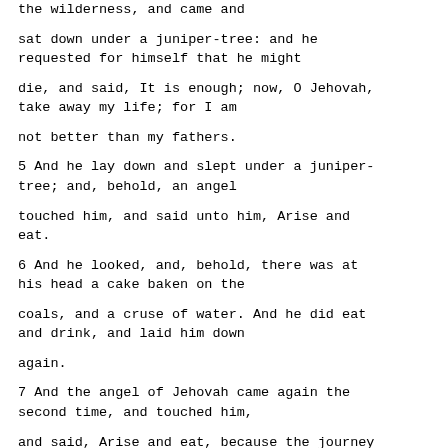the wilderness, and came and
sat down under a juniper-tree: and he requested for himself that he might
die, and said, It is enough; now, O Jehovah, take away my life; for I am
not better than my fathers.
5 And he lay down and slept under a juniper-tree; and, behold, an angel
touched him, and said unto him, Arise and eat.
6 And he looked, and, behold, there was at his head a cake baken on the
coals, and a cruse of water. And he did eat and drink, and laid him down
again.
7 And the angel of Jehovah came again the second time, and touched him,
and said, Arise and eat, because the journey is too great for thee.
8 And he arose, and did eat and drink, and went in the strength of that